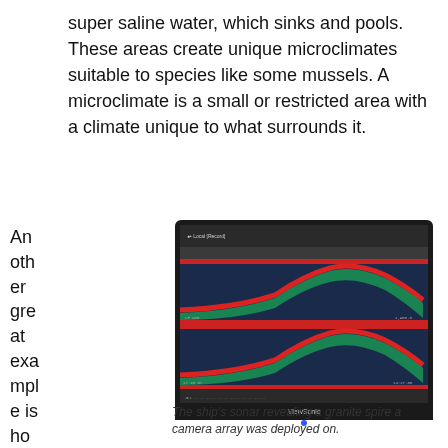super saline water, which sinks and pools. These areas create unique microclimates suitable to species like some mussels. A microclimate is a small or restricted area with a climate unique to what surrounds it.
Another great example is how geology
[Figure (photo): A ViewSonic computer monitor displaying ship sonar software showing a granite spire profile. Two sonar scan strips are visible: the upper one labeled 60.46m and the lower one labeled 60.39m. Both show a hill/spire shape rendered in colorful sonar imagery (blue, teal, green, red). The monitor brand 'ViewSonic' is visible at the bottom.]
The ship's sonar revealing a granite spire a camera array was deployed on.